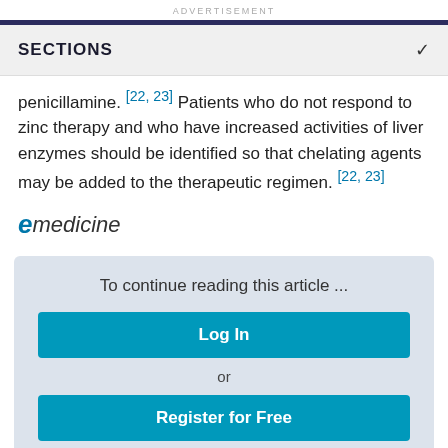ADVERTISEMENT
SECTIONS
penicillamine. [22, 23] Patients who do not respond to zinc therapy and who have increased activities of liver enzymes should be identified so that chelating agents may be added to the therapeutic regimen. [22, 23]
[Figure (logo): eMedicine logo — stylized italic e in blue followed by 'medicine' in dark text]
To continue reading this article ...
Log In
or
Register for Free